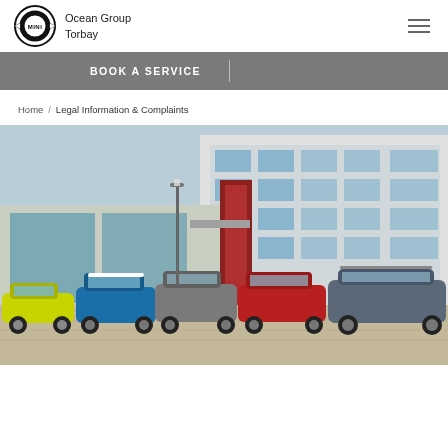Ocean Group Torbay
BOOK A SERVICE
Home / Legal Information & Complaints
[Figure (photo): A lineup of five MINI cars parked in front of a modern building with large glass windows and red accents. Cars include a yellow convertible, a blue hatchback, a grey hatchback, a red 5-door, and a grey Countryman. The photo is taken in a car park setting.]